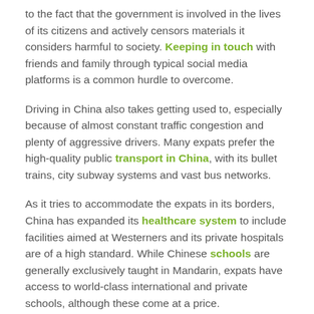to the fact that the government is involved in the lives of its citizens and actively censors materials it considers harmful to society. Keeping in touch with friends and family through typical social media platforms is a common hurdle to overcome.
Driving in China also takes getting used to, especially because of almost constant traffic congestion and plenty of aggressive drivers. Many expats prefer the high-quality public transport in China, with its bullet trains, city subway systems and vast bus networks.
As it tries to accommodate the expats in its borders, China has expanded its healthcare system to include facilities aimed at Westerners and its private hospitals are of a high standard. While Chinese schools are generally exclusively taught in Mandarin, expats have access to world-class international and private schools, although these come at a price.
Whether they're moving to China for business or to